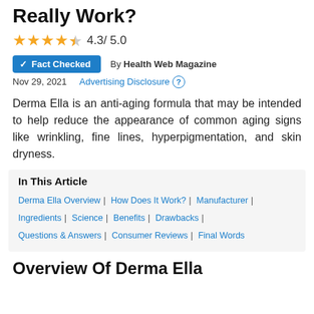Really Work?
4.3 / 5.0
✓ Fact Checked   By Health Web Magazine
Nov 29, 2021   Advertising Disclosure (?)
Derma Ella is an anti-aging formula that may be intended to help reduce the appearance of common aging signs like wrinkling, fine lines, hyperpigmentation, and skin dryness.
In This Article
Derma Ella Overview | How Does It Work? | Manufacturer | Ingredients | Science | Benefits | Drawbacks | Questions & Answers | Consumer Reviews | Final Words
Overview Of Derma Ella